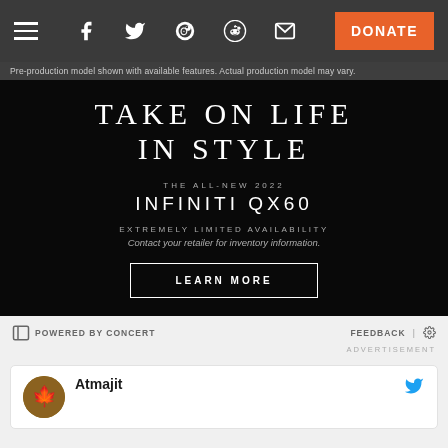Navigation bar with hamburger menu, social icons (Facebook, Twitter, Reddit, email), and DONATE button
Pre-production model shown with available features. Actual production model may vary.
[Figure (illustration): Infiniti QX60 advertisement on dark background. Headline: TAKE ON LIFE IN STYLE. Subtext: THE ALL-NEW 2022 INFINITI QX60. EXTREMELY LIMITED AVAILABILITY. Contact your retailer for inventory information. LEARN MORE button.]
POWERED BY CONCERT
FEEDBACK | ⚙
ADVERTISEMENT
Atmajit